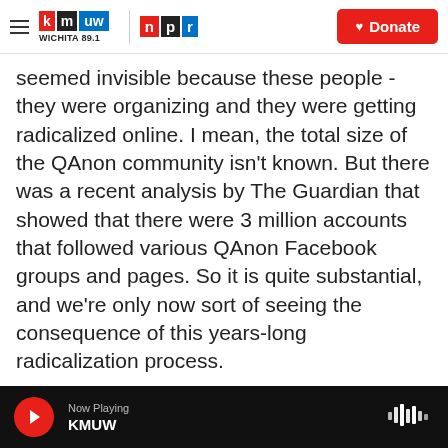KMUW Wichita 89.1 | NPR | Donate
seemed invisible because these people - they were organizing and they were getting radicalized online. I mean, the total size of the QAnon community isn't known. But there was a recent analysis by The Guardian that showed that there were 3 million accounts that followed various QAnon Facebook groups and pages. So it is quite substantial, and we're only now sort of seeing the consequence of this years-long radicalization process.
MARTIN: Is there something that social media companies should be thinking about? And is there any evidence that they are thinking about their role
Now Playing KMUW